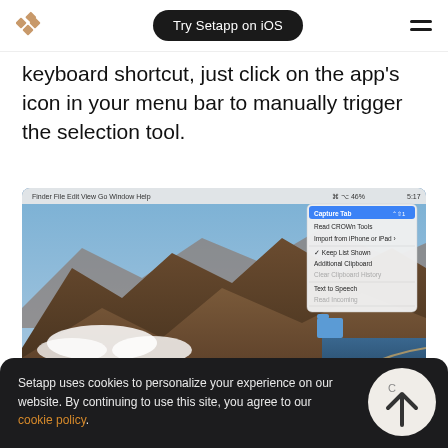Try Setapp on iOS
keyboard shortcut, just click on the app's icon in your menu bar to manually trigger the selection tool.
[Figure (screenshot): macOS desktop screenshot showing a landscape with mountains and clouds, with a dropdown menu open from the menu bar showing options like 'Capture Tab', 'Read CROWn Tools', 'Import from iPhone or iPad', 'Keep List Shown', 'Additional Clipboard', 'Text to Speech', 'Preferences...', 'Quit Text Gone']
Setapp uses cookies to personalize your experience on our website. By continuing to use this site, you agree to our cookie policy.